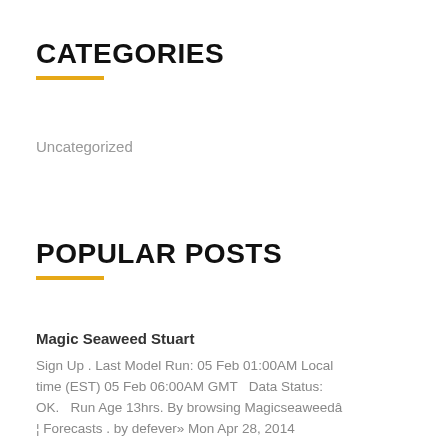CATEGORIES
Uncategorized
POPULAR POSTS
Magic Seaweed Stuart
Sign Up . Last Model Run: 05 Feb 01:00AM Local time (EST) 05 Feb 06:00AM GMT   Data Status: OK.   Run Age 13hrs. By browsing Magicseaweedâ ¦ Forecasts . by defever» Mon Apr 28, 2014